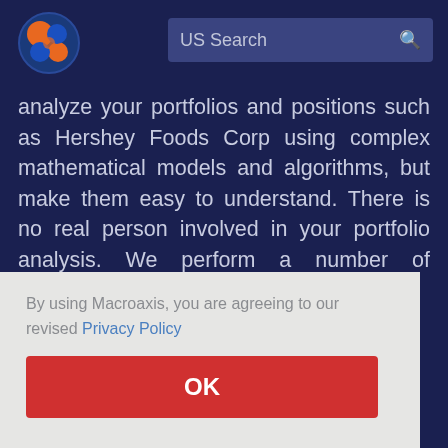[Figure (logo): Macroaxis logo: orange and blue circular globe icon]
US Search
analyze your portfolios and positions such as Hershey Foods Corp using complex mathematical models and algorithms, but make them easy to understand. There is no real person involved in your portfolio analysis. We perform a number of calculations to compute absolute and relative portfolio volatility, correlation between your assets, value at
By using Macroaxis, you are agreeing to our revised Privacy Policy
OK